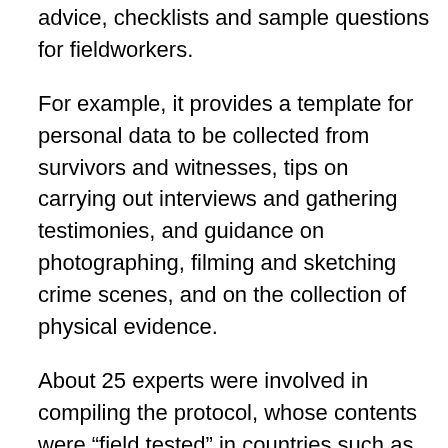advice, checklists and sample questions for fieldworkers.
For example, it provides a template for personal data to be collected from survivors and witnesses, tips on carrying out interviews and gathering testimonies, and guidance on photographing, filming and sketching crime scenes, and on the collection of physical evidence.
About 25 experts were involved in compiling the protocol, whose contents were “field tested” in countries such as Uganda and the Democratic Republic of the Congo before publication.
Humanitarian agencies at the London summit have documented the long-term physical and psychological effects of sexual violence in conflict, including the rejection of victims by their communities and the birth of children conceived during rape.